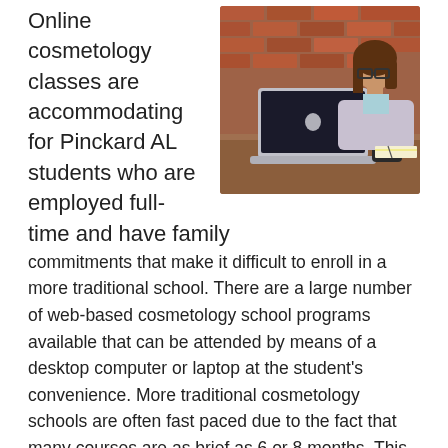Online cosmetology classes are accommodating for Pinckard AL students who are employed full-time and have family commitments that make it difficult to enroll in a more traditional school. There are a large number of web-based cosmetology school programs available that can be attended by means of a desktop computer or laptop at the student's convenience. More traditional cosmetology schools are often fast paced due to the fact that many courses are as brief as 6 or 8 months. This means that a significant amount of time is spent in the classroom. With internet programs, you are dealing with the same amount of material, but you're not devoting numerous hours away from your home or
[Figure (photo): A young woman with glasses and brown hair sitting at a wooden desk, working on a silver laptop. A dark mug and papers are on the desk. Brick wall in the background.]